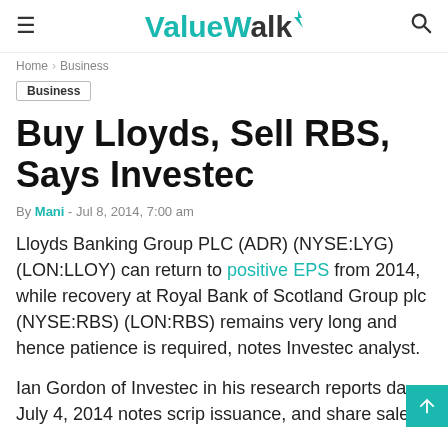ValueWalk
Home › Business
Business
Buy Lloyds, Sell RBS, Says Investec
By Mani - Jul 8, 2014, 7:00 am
Lloyds Banking Group PLC (ADR) (NYSE:LYG) (LON:LLOY) can return to positive EPS from 2014, while recovery at Royal Bank of Scotland Group plc (NYSE:RBS) (LON:RBS) remains very long and hence patience is required, notes Investec analyst.
Ian Gordon of Investec in his research reports dated July 4, 2014 notes scrip issuance, and share sales